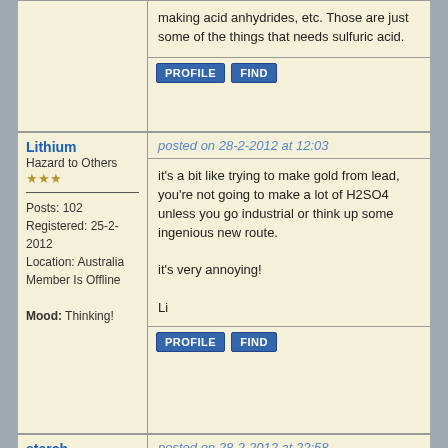making acid anhydrides, etc. Those are just some of the things that needs sulfuric acid.
PROFILE  FIND
Lithium
Hazard to Others
★★★
Posts: 102
Registered: 25-2-2012
Location: Australia
Member Is Offline
Mood: Thinking!
posted on 28-2-2012 at 12:03
it's a bit like trying to make gold from lead, you're not going to make a lot of H2SO4 unless you go industrial or think up some ingenious new route.

it's very annoying!

Li
PROFILE  FIND
starch
Harmless
★
Posts: 33
Registered: 13-3-2010
Member Is Offline
Mood: No Mood
posted on 28-2-2012 at 22:58
nitrate in Australia aint to hard, potassium nitrate any way

you have to extract it from another product but that aint to hard

pm me